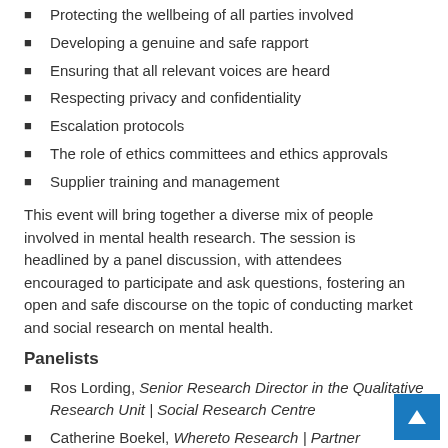Protecting the wellbeing of all parties involved
Developing a genuine and safe rapport
Ensuring that all relevant voices are heard
Respecting privacy and confidentiality
Escalation protocols
The role of ethics committees and ethics approvals
Supplier training and management
This event will bring together a diverse mix of people involved in mental health research. The session is headlined by a panel discussion, with attendees encouraged to participate and ask questions, fostering an open and safe discourse on the topic of conducting market and social research on mental health.
Panelists
Ros Lording, Senior Research Director in the Qualitative Research Unit | Social Research Centre
Catherine Boekel, Whereto Research | Partner